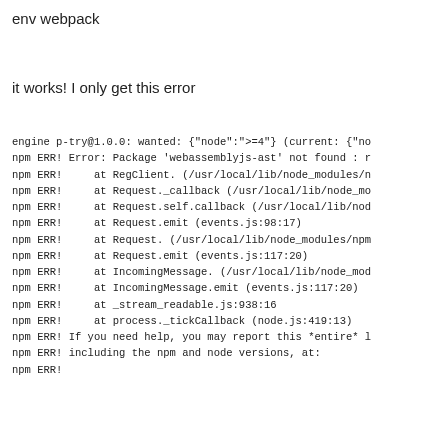env webpack
it works! I only get this error
engine p-try@1.0.0: wanted: {"node":">=4"} (current: {"no
npm ERR! Error: Package 'webassemblyjs-ast' not found : r
npm ERR!     at RegClient. (/usr/local/lib/node_modules/n
npm ERR!     at Request._callback (/usr/local/lib/node_mo
npm ERR!     at Request.self.callback (/usr/local/lib/nod
npm ERR!     at Request.emit (events.js:98:17)
npm ERR!     at Request. (/usr/local/lib/node_modules/npm
npm ERR!     at Request.emit (events.js:117:20)
npm ERR!     at IncomingMessage. (/usr/local/lib/node_mod
npm ERR!     at IncomingMessage.emit (events.js:117:20)
npm ERR!     at _stream_readable.js:938:16
npm ERR!     at process._tickCallback (node.js:419:13)
npm ERR! If you need help, you may report this *entire* l
npm ERR! including the npm and node versions, at:
npm ERR!